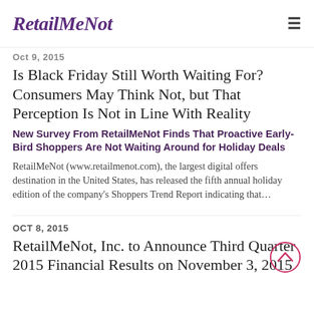RetailMeNot
Oct 9, 2015 (partial, cut off)
Is Black Friday Still Worth Waiting For? Consumers May Think Not, but That Perception Is Not in Line With Reality
New Survey From RetailMeNot Finds That Proactive Early-Bird Shoppers Are Not Waiting Around for Holiday Deals
RetailMeNot (www.retailmenot.com), the largest digital offers destination in the United States, has released the fifth annual holiday edition of the company’s Shoppers Trend Report indicating that…
OCT 8, 2015
RetailMeNot, Inc. to Announce Third Quarter 2015 Financial Results on November 3, 2015